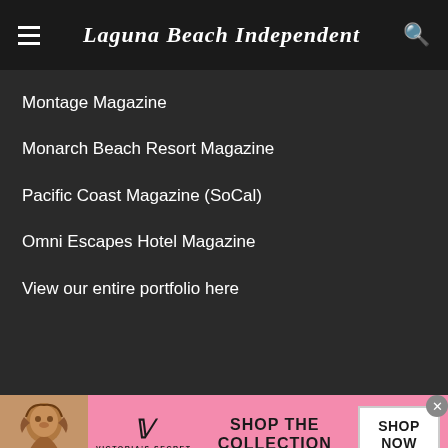Laguna Beach Independent
Montage Magazine
Monarch Beach Resort Magazine
Pacific Coast Magazine (SoCal)
Omni Escapes Hotel Magazine
View our entire portfolio here
[Figure (screenshot): Victoria's Secret advertisement banner with pink background, model photo on left, VS logo, 'SHOP THE COLLECTION' text, and 'SHOP NOW' button]